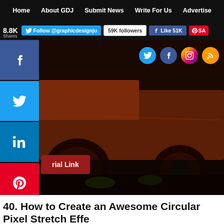Home   About GDJ   Submit News   Write For Us   Advertise
[Figure (screenshot): Social media follow/like bar with Twitter follow @graphicdesignju button, 59K followers badge, Facebook Like 51K button, Pinterest Save button. Shows 8.8K shares.]
[Figure (photo): Hero image showing a rusted abandoned vehicle/truck in dark reddish-brown tones with social share buttons on the left side (Facebook, Twitter, LinkedIn, Pinterest, more) and social network icons (Twitter, Facebook, Instagram, RSS) in the top right. A red 'Tutorial Link' button is overlaid on the image.]
40. How to Create an Awesome Circular Pixel Stretch Effect Tutorial